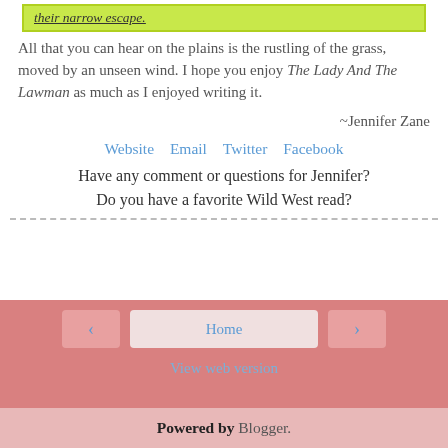[Figure (other): Highlighted green box with italic underlined text: 'their narrow escape.']
All that you can hear on the plains is the rustling of the grass, moved by an unseen wind. I hope you enjoy The Lady And The Lawman as much as I enjoyed writing it.
~Jennifer Zane
Website   Email   Twitter   Facebook
Have any comment or questions for Jennifer?
Do you have a favorite Wild West read?
Home   View web version   Powered by Blogger.